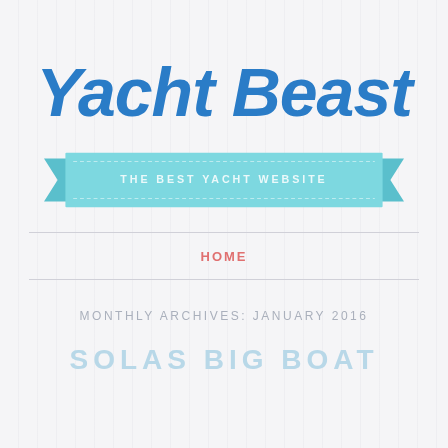Yacht Beast
[Figure (illustration): Decorative teal ribbon banner with text 'THE BEST YACHT WEBSITE' in white uppercase letters, with folded ends on each side]
HOME
MONTHLY ARCHIVES: JANUARY 2016
SOLAS BIG BOAT